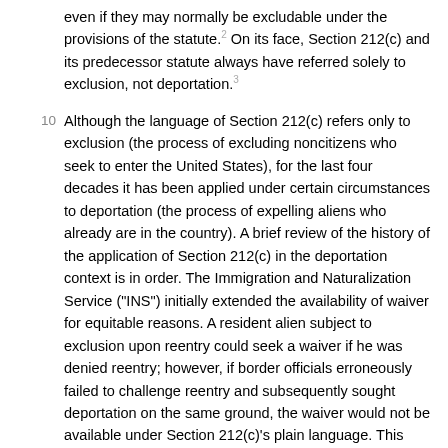even if they may normally be excludable under the provisions of the statute. 2 On its face, Section 212(c) and its predecessor statute always have referred solely to exclusion, not deportation. 3
10 Although the language of Section 212(c) refers only to exclusion (the process of excluding noncitizens who seek to enter the United States), for the last four decades it has been applied under certain circumstances to deportation (the process of expelling aliens who already are in the country). A brief review of the history of the application of Section 212(c) in the deportation context is in order. The Immigration and Naturalization Service ("INS") initially extended the availability of waiver for equitable reasons. A resident alien subject to exclusion upon reentry could seek a waiver if he was denied reentry; however, if border officials erroneously failed to challenge reentry and subsequently sought deportation on the same ground, the waiver would not be available under Section 212(c)'s plain language. This would put the alien who gained reentry and then was subject to deportation in a worse position than one denied reentry. To avoid this result, the INS allowed aliens who actually left the U.S. and then reentered to apply for a nunc pro tunc waiver if deportation was sought on a ground specified in Section 212. See Leal-Rodriguez v. INS, 990 F.2d 939, 949 (7th Cir.1993) (detailing